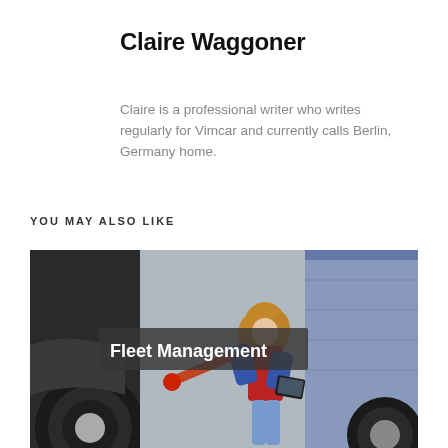Claire Waggoner
Claire is a professional writer who writes regularly for Vimcar and currently calls Berlin, Germany home.
YOU MAY ALSO LIKE
[Figure (photo): A woman with curly hair wearing a red vest and blue plaid shirt inspects a large truck tire while holding a tablet, standing between two large trucks.]
Fleet Management